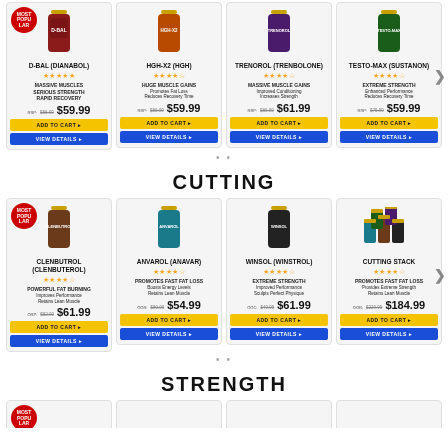[Figure (other): Product carousel - Bulking supplements: D-BAL (Dianabol) $59.99, HGH-X2 (HGH) $59.99, TRENOROL (TRENBOLONE) $61.99, TESTO-MAX (SUSTANON) $59.99. Each card has product bottle image, star ratings, description, RRP crossed out, price, yellow ADD TO CART button, blue VIEW DETAILS button. MOST POPULAR badge on D-BAL.]
CUTTING
[Figure (other): Product carousel - Cutting supplements: CLENBUTROL (CLENBUTEROL) $61.99 MOST POPULAR, ANVAROL (ANAVAR) $54.99, WINSOL (WINSTROL) $61.99, CUTTING STACK $184.99. Each card has product bottle image, star ratings, description, ORP crossed out, price, yellow ADD TO CART button, blue VIEW DETAILS button.]
STRENGTH